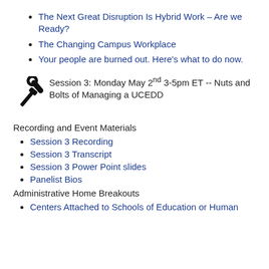The Next Great Disruption Is Hybrid Work – Are we Ready?
The Changing Campus Workplace
Your people are burned out. Here's what to do now.
[Figure (illustration): Crossed screwdriver and wrench tools icon (nuts and bolts symbol)]
Session 3: Monday May 2nd 3-5pm ET -- Nuts and Bolts of Managing a UCEDD
Recording and Event Materials
Session 3 Recording
Session 3 Transcript
Session 3 Power Point slides
Panelist Bios
Administrative Home Breakouts
Centers Attached to Schools of Education or Human